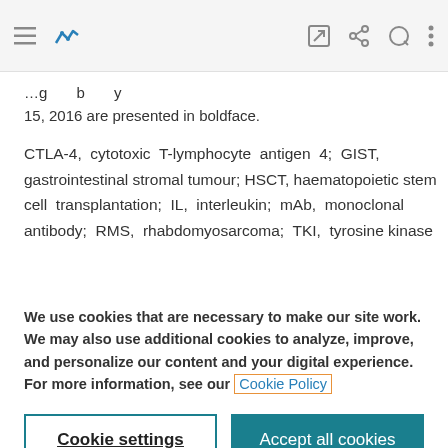[Figure (screenshot): Mobile browser toolbar with hamburger menu, bookmark icon, edit icon, share icon, search icon, and more options icon]
15, 2016 are presented in boldface.
CTLA-4, cytotoxic T-lymphocyte antigen 4; GIST, gastrointestinal stromal tumour; HSCT, haematopoietic stem cell transplantation; IL, interleukin; mAb, monoclonal antibody; RMS, rhabdomyosarcoma; TKI, tyrosine kinase
We use cookies that are necessary to make our site work. We may also use additional cookies to analyze, improve, and personalize our content and your digital experience. For more information, see our Cookie Policy
Cookie settings
Accept all cookies